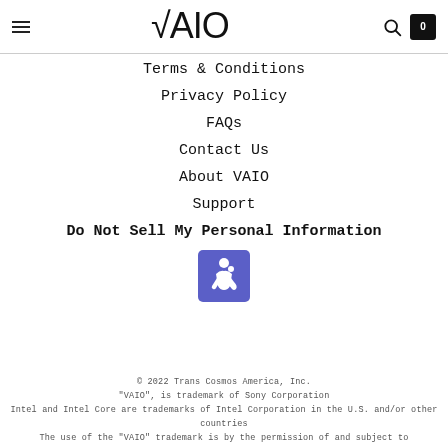VAIO logo with hamburger menu, search icon, and cart icon (0 items)
Terms & Conditions
Privacy Policy
FAQs
Contact Us
About VAIO
Support
Do Not Sell My Personal Information
[Figure (illustration): Blue accessibility icon (wheelchair symbol) in a blue square button]
© 2022 Trans Cosmos America, Inc.
"VAIO",  is trademark of Sony Corporation
Intel and Intel Core are trademarks of Intel Corporation in the U.S. and/or other countries
The use of the "VAIO" trademark is by the permission of and subject to